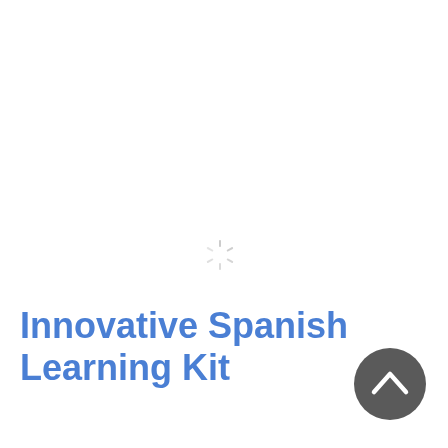[Figure (other): Loading spinner icon (circular dashed spinner) centered in the upper portion of the page]
Innovative Spanish Learning Kit
[Figure (other): Dark grey circular button with upward-pointing chevron arrow, positioned bottom-right]